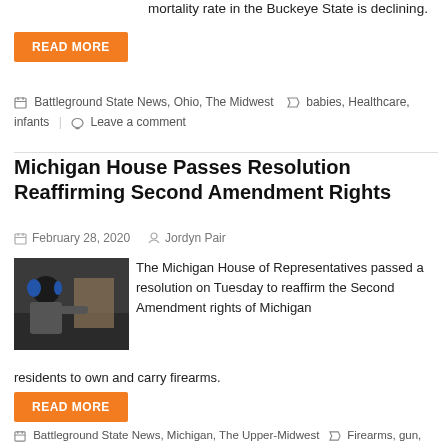mortality rate in the Buckeye State is declining.
READ MORE
Battleground State News, Ohio, The Midwest   babies, Healthcare, infants   Leave a comment
Michigan House Passes Resolution Reaffirming Second Amendment Rights
February 28, 2020   Jordyn Pair
[Figure (photo): Person wearing blue ear protection shooting at a firing range]
The Michigan House of Representatives passed a resolution on Tuesday to reaffirm the Second Amendment rights of Michigan residents to own and carry firearms.
READ MORE
Battleground State News, Michigan, The Upper-Midwest   Firearms, gun, Michigan, Second Amendment   Leave a comment